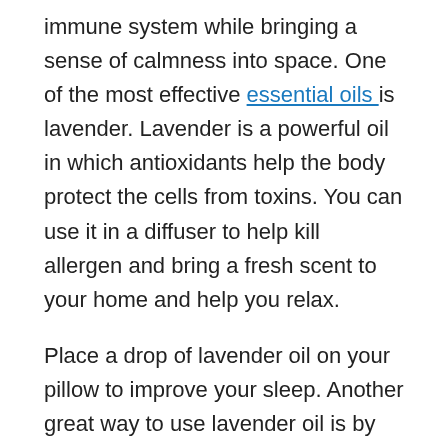immune system while bringing a sense of calmness into space. One of the most effective essential oils is lavender. Lavender is a powerful oil in which antioxidants help the body protect the cells from toxins. You can use it in a diffuser to help kill allergen and bring a fresh scent to your home and help you relax.
Place a drop of lavender oil on your pillow to improve your sleep. Another great way to use lavender oil is by adding two to four drops to your bathwater. Lavender oil will help you release the toxins from your body while finding a deep sense of relaxation.
Anyone can work at building their immune system and increase their chances of staying healthy during a flu season or when confronted with bacteria. As you have